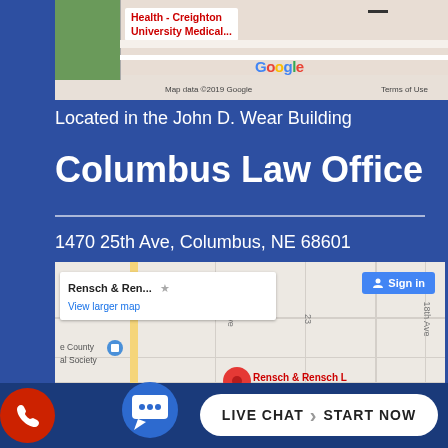[Figure (screenshot): Google Maps screenshot showing Health - Creighton University Medical location with map data 2019 Google and Terms of Use]
Located in the John D. Wear Building
Columbus Law Office
1470 25th Ave, Columbus, NE 68601
[Figure (screenshot): Google Maps screenshot showing Rensch & Rensch law office location in Columbus, NE with red map pin, sign in button, and View larger map link]
LIVE CHAT START NOW